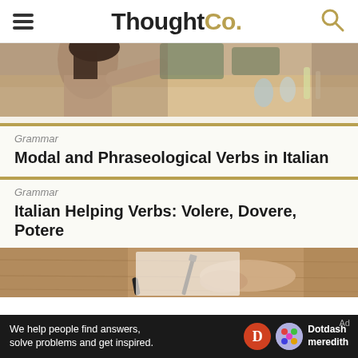ThoughtCo.
[Figure (photo): Woman at a dining table reaching for food, restaurant setting]
Grammar
Modal and Phraseological Verbs in Italian
Grammar
Italian Helping Verbs: Volere, Dovere, Potere
[Figure (photo): Hands writing with a pen on paper on a wooden table, with a pen cap nearby]
We help people find answers, solve problems and get inspired.